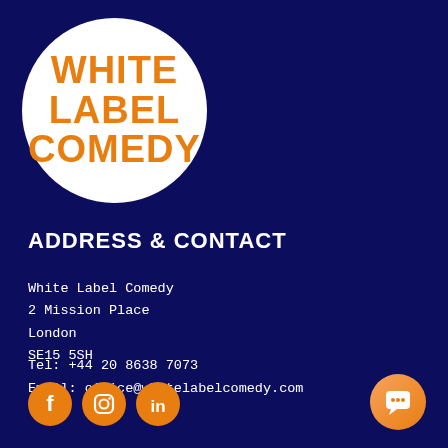[Figure (logo): White Label Comedy logo: white circle with orange bold text reading WHITE LABEL COMEDY]
ADDRESS & CONTACT
White Label Comedy
2 Mission Place
London
SE15 5SH
Tel: +44 20 8638 7073
Email: office@whitelabelcomedy.com
[Figure (illustration): Three orange circular social media icons: Facebook, Instagram, LinkedIn]
[Figure (illustration): Orange gradient circular chat/message button in bottom right corner]